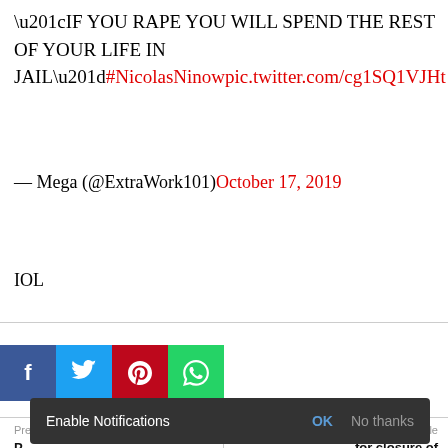“IF YOU RAPE YOU WILL SPEND THE REST OF YOUR LIFE IN JAIL”#NicolasNinowpic.twitter.com/cg1SQ1VJHt
— Mega (@ExtraWork101) October 17, 2019
IOL
[Figure (other): Social media share buttons: Facebook (blue), Twitter (light blue), Pinterest (red), WhatsApp (green)]
Previous article
Next article
P... 4... for closure of ... after shocking viral video
Enable Notifications OK No thanks